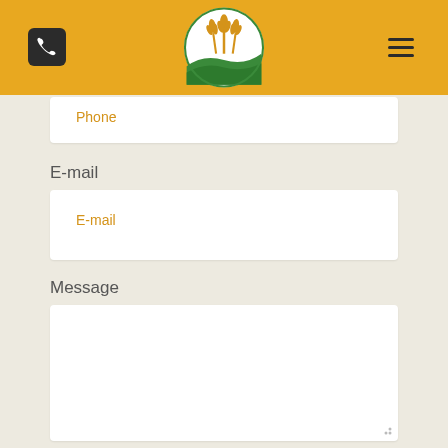[Figure (logo): Agricultural logo: circular badge with green and gold wheat stalks over rolling green hills/waves, on golden yellow header background]
Phone
E-mail
E-mail
Message